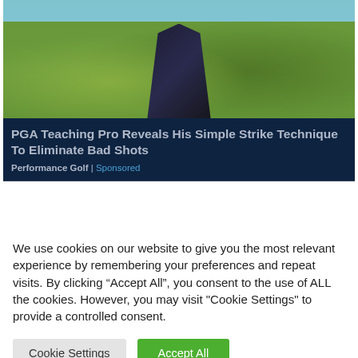[Figure (photo): Golf course scene with golf bags and people on a sunny day]
PGA Teaching Pro Reveals His Simple Strike Technique To Eliminate Bad Shots
Performance Golf | Sponsored
We use cookies on our website to give you the most relevant experience by remembering your preferences and repeat visits. By clicking “Accept All”, you consent to the use of ALL the cookies. However, you may visit "Cookie Settings" to provide a controlled consent.